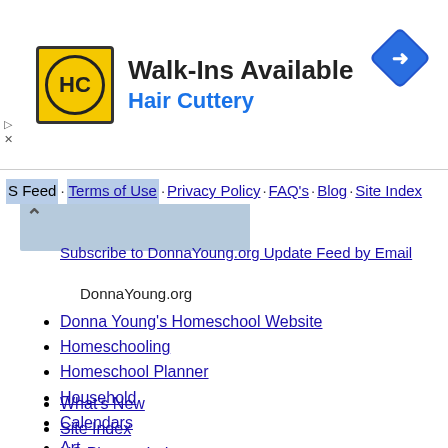[Figure (illustration): Hair Cuttery advertisement banner with yellow HC logo, Walk-Ins Available headline, Hair Cuttery subtext in blue, and blue diamond navigation icon]
S Feed · Terms of Use · Privacy Policy · FAQ's · Blog · Site Index
Subscribe to DonnaYoung.org Update Feed by Email
DonnaYoung.org
Donna Young's Homeschool Website
Homeschooling
Homeschool Planner
Household
Calendars
Art
English
Handwriting
History
Math
Science
What's New
Site Index
HS Planner Index